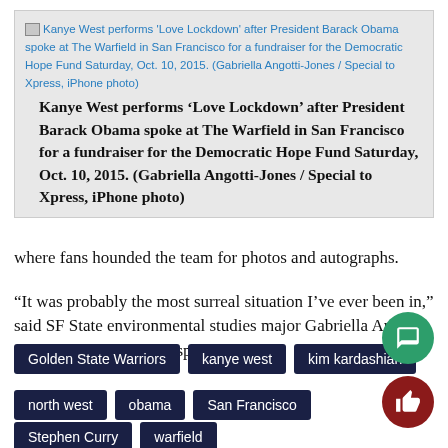[Figure (photo): Broken image placeholder with blue link text caption: Kanye West performs 'Love Lockdown' after President Barack Obama spoke at The Warfield in San Francisco for a fundraiser for the Democratic Hope Fund Saturday, Oct. 10, 2015. (Gabriella Angotti-Jones / Special to Xpress, iPhone photo)]
Kanye West performs ‘Love Lockdown’ after President Barack Obama spoke at The Warfield in San Francisco for a fundraiser for the Democratic Hope Fund Saturday, Oct. 10, 2015. (Gabriella Angotti-Jones / Special to Xpress, iPhone photo)
where fans hounded the team for photos and autographs.
“It was probably the most surreal situation I’ve ever been in,” said SF State environmental studies major Gabriella Angotti-Jones. “I’m completely speechless.”
Golden State Warriors
kanye west
kim kardashian
north west
obama
San Francisco
Stephen Curry
warfield